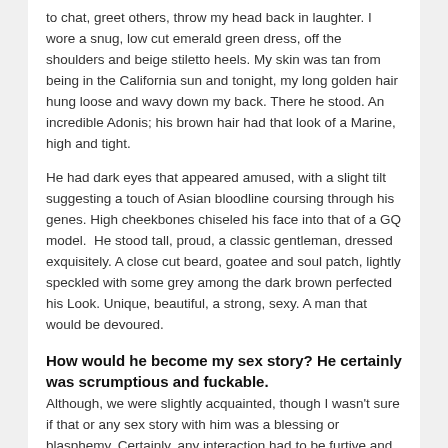to chat, greet others, throw my head back in laughter. I wore a snug, low cut emerald green dress, off the shoulders and beige stiletto heels. My skin was tan from being in the California sun and tonight, my long golden hair hung loose and wavy down my back. There he stood. An incredible Adonis; his brown hair had that look of a Marine, high and tight.
He had dark eyes that appeared amused, with a slight tilt suggesting a touch of Asian bloodline coursing through his genes. High cheekbones chiseled his face into that of a GQ model.  He stood tall, proud, a classic gentleman, dressed exquisitely. A close cut beard, goatee and soul patch, lightly speckled with some grey among the dark brown perfected his Look. Unique, beautiful, a strong, sexy. A man that would be devoured.
How would he become my sex story? He certainly was scrumptious and fuckable.
Although, we were slightly acquainted, though I wasn't sure if that or any sex story with him was a blessing or blasphemy. Certainly, any interaction had to be furtive and silent. Did that add to my mad desire for him; to caress him, to lick him, to rub my body against his nakedness-to feel him inside me, throbbing.  If I could only get him alone. My imagination ran wild. When I sidled up beside him, he smiled. "How's your